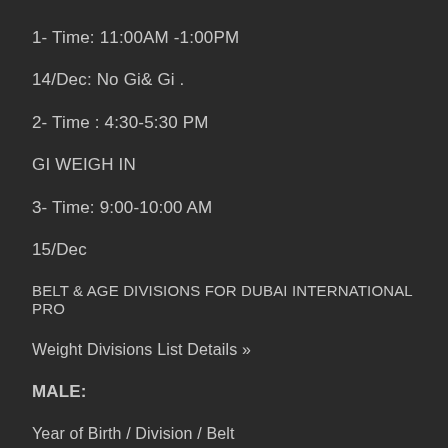1- Time: 11:00AM -1:00PM
14/Dec: No Gi& Gi .
2- Time : 4:30-5:30 PM
GI WEIGH IN
3- Time: 9:00-10:00 AM
15/Dec
BELT & AGE DIVISIONS FOR DUBAI INTERNATIONAL PRO
Weight Divisions List Details »
MALE:
Year of Birth / Division / Belt